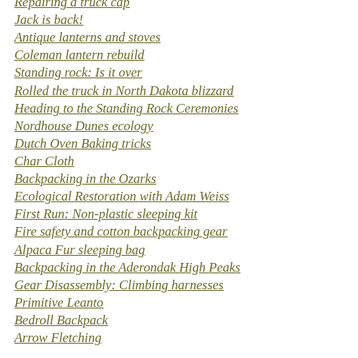Repairing a truck cap
Jack is back!
Antique lanterns and stoves
Coleman lantern rebuild
Standing rock: Is it over
Rolled the truck in North Dakota blizzard
Heading to the Standing Rock Ceremonies
Nordhouse Dunes ecology
Dutch Oven Baking tricks
Char Cloth
Backpacking in the Ozarks
Ecological Restoration with Adam Weiss
First Run: Non-plastic sleeping kit
Fire safety and cotton backpacking gear
Alpaca Fur sleeping bag
Backpacking in the Aderondak High Peaks
Gear Disassembly: Climbing harnesses
Primitive Leanto
Bedroll Backpack
Arrow Fletching